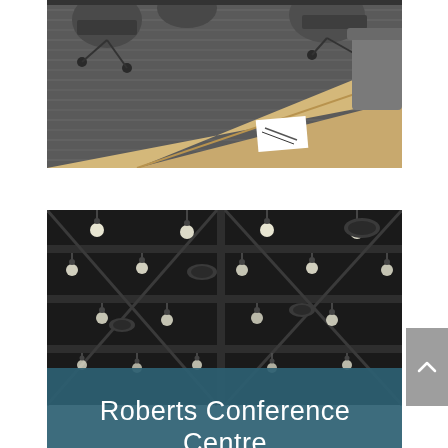[Figure (photo): Interior conference room photo showing a light wood table with chairs in a dark-carpeted room, viewed from above at an angle. A white paper with pens is visible on the table surface.]
[Figure (photo): Interior venue photo showing a large dark ceiling with rows of pendant/track lighting fixtures hanging down, structural beams visible. Lower portion shows a teal/dark blue banner overlay with white text reading 'Roberts Conference Centre'.]
Roberts Conference Centre